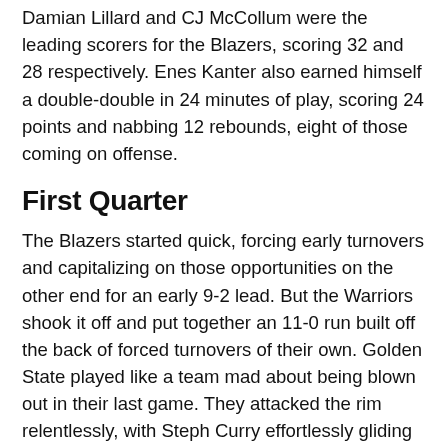Damian Lillard and CJ McCollum were the leading scorers for the Blazers, scoring 32 and 28 respectively. Enes Kanter also earned himself a double-double in 24 minutes of play, scoring 24 points and nabbing 12 rebounds, eight of those coming on offense.
First Quarter
The Blazers started quick, forcing early turnovers and capitalizing on those opportunities on the other end for an early 9-2 lead. But the Warriors shook it off and put together an 11-0 run built off the back of forced turnovers of their own. Golden State played like a team mad about being blown out in their last game. They attacked the rim relentlessly, with Steph Curry effortlessly gliding by whoever was in front of him for layups. Golden State was rewarded for aggressiveness, as they drew nine fouls on Portland in